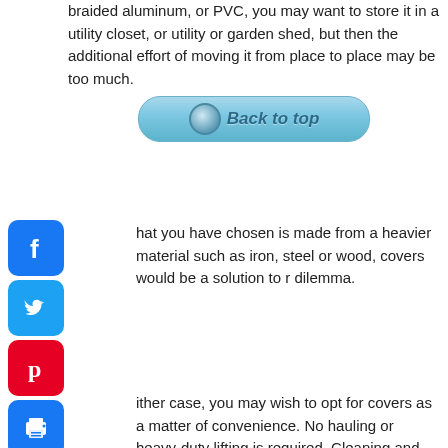braided aluminum, or PVC, you may want to store it in a utility closet, or utility or garden shed, but then the additional effort of moving it from place to place may be too much.
[Figure (screenshot): Back to top button overlay - a light blue rounded rectangle button with a globe/back icon and bold italic text 'Back to top']
[Figure (logo): Facebook social share icon - blue rounded square with white F]
hat you have chosen is made from a heavier material such as iron, steel or wood, covers would be a solution to r dilemma.
[Figure (logo): Twitter social share icon - blue rounded square with white bird]
[Figure (logo): Pinterest social share icon - red rounded square with white P]
ither case, you may wish to opt for covers as a matter of convenience. No hauling or heavy-duty lifting is required. Cleaning and care will be made easier by the use of a cover.
[Figure (logo): Print icon - blue rounded square with white printer]
[Figure (logo): Add/share icon - blue rounded square with white plus sign]
What Are Garden Furniture Covers Made Of?
The covers are made from a thick gauge vinyl with a polyurethane lining. The thicker the gauge of vinyl, the